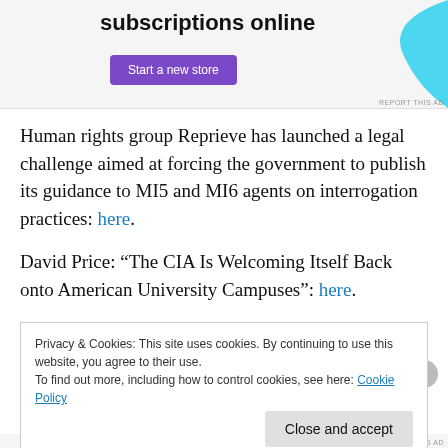[Figure (other): Advertisement banner with bold text 'subscriptions online', a purple 'Start a new store' button, and a light blue decorative shape on the right. 'REPORT THIS AD' text at bottom right.]
Human rights group Reprieve has launched a legal challenge aimed at forcing the government to publish its guidance to MI5 and MI6 agents on interrogation practices: here.
David Price: “The CIA Is Welcoming Itself Back onto American University Campuses”: here.
Privacy & Cookies: This site uses cookies. By continuing to use this website, you agree to their use.
To find out more, including how to control cookies, see here: Cookie Policy
Close and accept